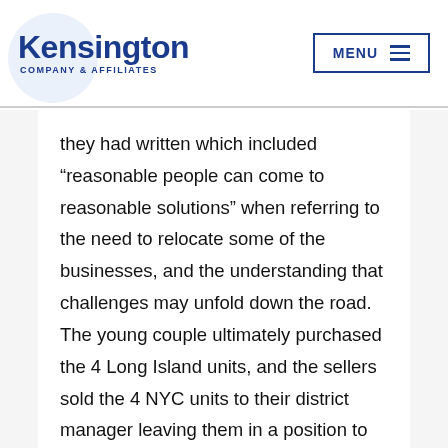Kensington COMPANY & AFFILIATES | MENU
they had written which included “reasona­ble people can come to reasonable solutions” when referring to the need to relocate some of the businesses, and the understanding that challenges may unfold down the road. The young couple ultimately purchased the 4 Long Island units, and the sellers sold the 4 NYC units to their district manager leaving them in a position to enjoy their retirement, knowing they had left their business in the hands of capable people who they admired